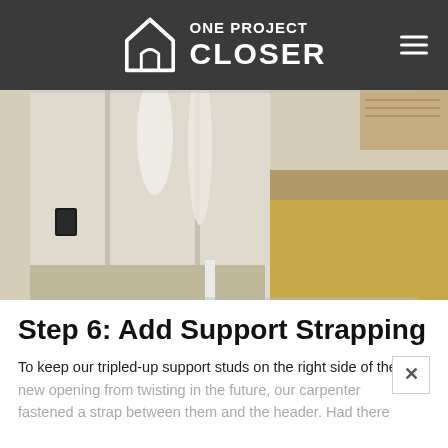ONE PROJECT CLOSER
[Figure (photo): Interior construction photo showing drywall on the left side of a room with joint compound applied, a yellow/golden painted or covered floor on the right, and a black electrical outlet box visible on the wall. The scene depicts a home renovation in progress.]
Step 6: Add Support Strapping
To keep our tripled-up support studs on the right side of the new opening from twisting in the future, our carpenter fastened a strap between them and the header.  Had there